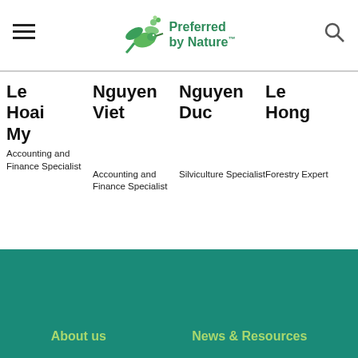[Figure (logo): Preferred by Nature logo with hummingbird and green text]
Le Nguyen Nguyen Le
Hoai Viet Duc Hong
My
Accounting and Finance Specialist
Silviculture Specialist
Forestry Expert
Accounting and Finance Specialist
.
About us    News & Resources